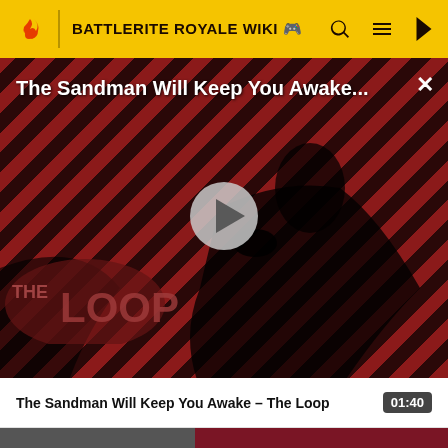BATTLERITE ROYALE WIKI
[Figure (screenshot): Video modal overlay showing 'The Sandman Will Keep You Awake...' title with a dark figure holding a crow against a diagonal red/dark stripe background, with a play button in the center and 'THE LOOP' watermark in the lower left. Close (X) button in upper right.]
The Sandman Will Keep You Awake – The Loop  01:40
[Figure (screenshot): Partial dark thumbnail image at bottom of page with dark red/maroon area to the right.]